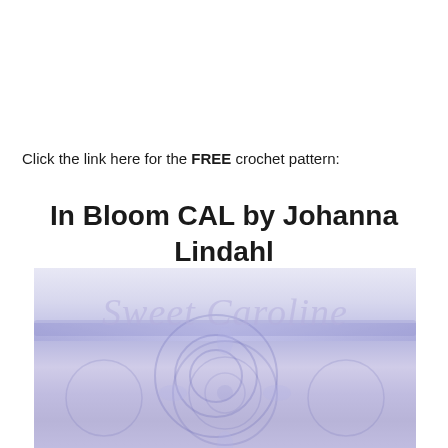Click the link here for the FREE crochet pattern:
In Bloom CAL by Johanna Lindahl
[Figure (illustration): Watermarked image with cursive 'Sweet Caroline' text overlay on a blue and white crochet blanket/doily pattern with floral medallion design]